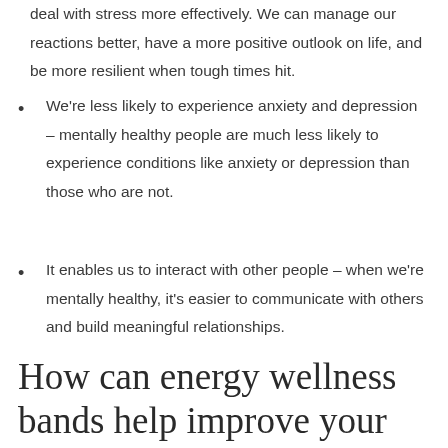deal with stress more effectively. We can manage our reactions better, have a more positive outlook on life, and be more resilient when tough times hit.
We're less likely to experience anxiety and depression – mentally healthy people are much less likely to experience conditions like anxiety or depression than those who are not.
It enables us to interact with other people – when we're mentally healthy, it's easier to communicate with others and build meaningful relationships.
How can energy wellness bands help improve your physical and mental health?